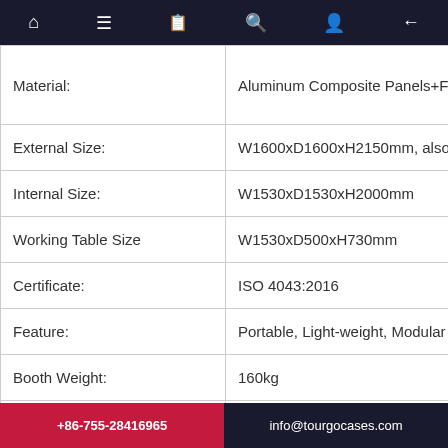| Property | Value |
| --- | --- |
| Material: | Aluminum Composite Panels+Fire pro... |
| External Size: | W1600xD1600xH2150mm, also offer cu... |
| Internal Size: | W1530xD1530xH2000mm |
| Working Table Size | W1530xD500xH730mm |
| Certificate: | ISO 4043:2016 |
| Feature: | Portable, Light-weight, Modular |
| Booth Weight: | 160kg |
| Color: | Dark Gray |
| Package | Flight Case |
+86-755-28416965   info@tourgocases.com